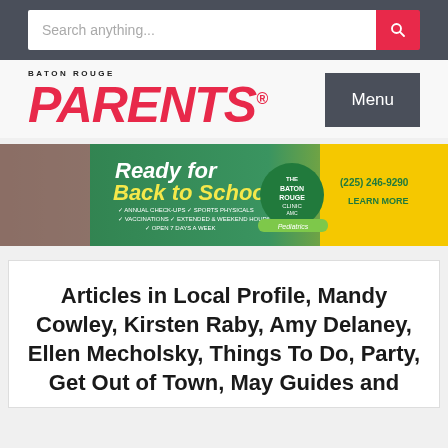Search anything...
[Figure (logo): Baton Rouge Parents magazine logo with red bold italic text]
[Figure (infographic): Back to School advertisement for The Baton Rouge Clinic AMC Pediatrics. Text: Ready for Back to School? Annual Check-Ups, Sports Physicals, Vaccinations, Extended & Weekend Hours, Open 7 Days a Week. Phone: (225) 246-9290. Learn More.]
Articles in Local Profile, Mandy Cowley, Kirsten Raby, Amy Delaney, Ellen Mecholsky, Things To Do, Party, Get Out of Town, May Guides and